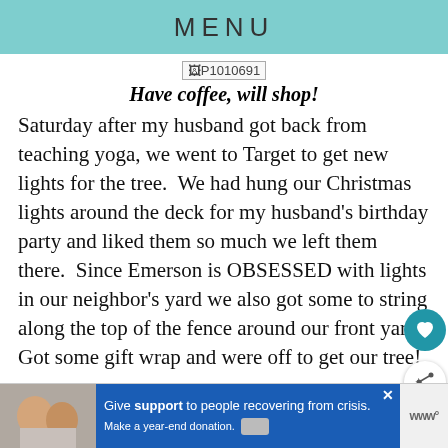MENU
[Figure (photo): Image placeholder labeled P1010691]
Have coffee, will shop!
Saturday after my husband got back from teaching yoga, we went to Target to get new lights for the tree.  We had hung our Christmas lights around the deck for my husband's birthday party and liked them so much we left them there.  Since Emerson is OBSESSED with lights in our neighbor's yard we also got some to string along the top of the fence around our front yard.  Got some gift wrap and were off to get our tree!
[Figure (photo): Advertisement banner: Give support to people recovering from crisis. Make a year-end donation.]